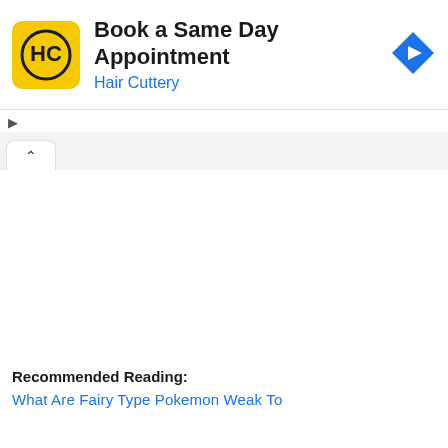[Figure (screenshot): Advertisement banner for Hair Cuttery. Yellow square logo with HC monogram on left, text 'Book a Same Day Appointment' in bold black and 'Hair Cuttery' in blue below. Blue diamond-shaped navigation icon on right.]
Recommended Reading:
What Are Fairy Type Pokemon Weak To